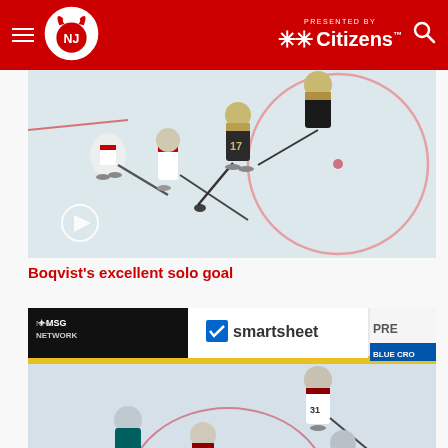New Jersey Devils — Presented by Citizens
[Figure (screenshot): Hockey game video thumbnail showing New Jersey Devils players in red/white jerseys competing against Vegas Golden Knights players in dark jerseys on an ice rink. A play button overlay is visible at the bottom left.]
Boqvist's excellent solo goal
[Figure (screenshot): Hockey game video thumbnail showing NHL game broadcast with MSG/NHL Network branding, smartsheet advertising board, and players from Seattle Kraken (teal jerseys) competing against Arizona Coyotes (white jerseys) on ice rink.]